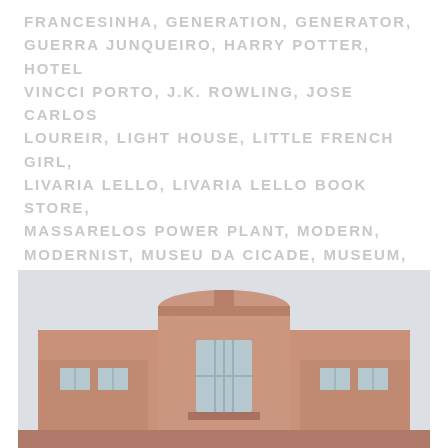FRANCESINHA, GENERATION, GENERATOR, GUERRA JUNQUEIRO, HARRY POTTER, HOTEL VINCCI PORTO, J.K. ROWLING, JOSE CARLOS LOUREIR, LIGHT HOUSE, LITTLE FRENCH GIRL, LIVARIA LELLO, LIVARIA LELLO BOOK STORE, MASSARELOS POWER PLANT, MODERN, MODERNIST, MUSEU DA CICADE, MUSEUM, NICOLAU NASONI, O BACALHAU EM PRATO, OCEAN, PHOTOGRAPHY, PORTO, PORTO TRAM MUSEUM, PORTUGAL, POWER PLANT, POWER STATION, SUPER BOCK ARENA, TRAM, TRAVEL, VILA NOVA DE GAIA, VODAFONE, VODAFONE HEADQUARTERS, WAVES
[Figure (photo): Exterior view of a modernist building with terracotta/salmon-pink stucco facade, featuring a central rounded tower element, rectangular windows with vertical mullions, and a pale overcast sky background.]